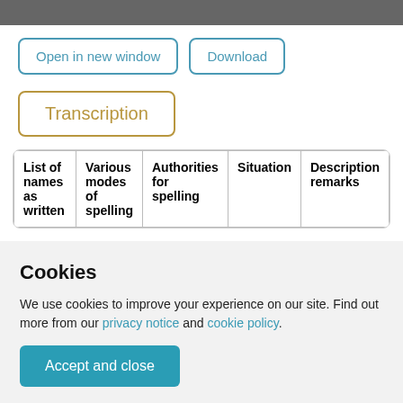Open in new window | Download
Transcription
| List of names as written | Various modes of spelling | Authorities for spelling | Situation | Description remarks |
| --- | --- | --- | --- | --- |
Cookies
We use cookies to improve your experience on our site. Find out more from our privacy notice and cookie policy.
Accept and close